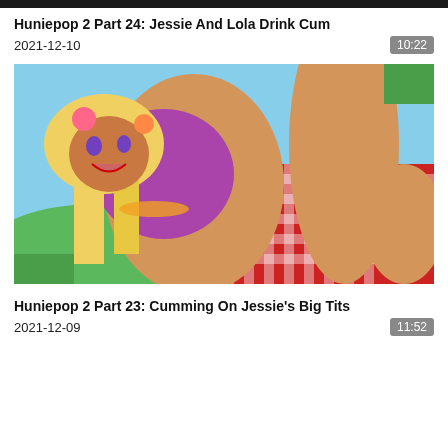Huniepop 2 Part 24: Jessie And Lola Drink Cum
2021-12-10
10:22
[Figure (illustration): Anime-style illustration of a blonde female character in a purple outfit lying on a red checkered blanket outdoors]
Huniepop 2 Part 23: Cumming On Jessie's Big Tits
2021-12-09
11:52